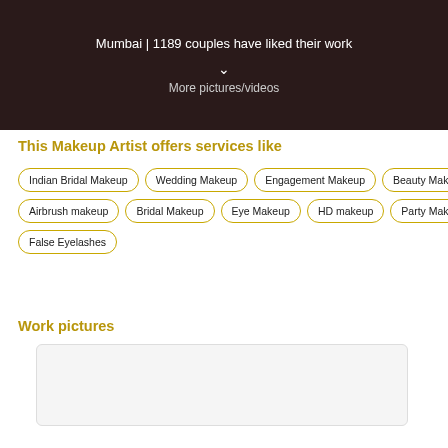Mumbai | 1189 couples have liked their work
More pictures/videos
This Makeup Artist offers services like
Indian Bridal Makeup
Wedding Makeup
Engagement Makeup
Beauty Makeup
Airbrush makeup
Bridal Makeup
Eye Makeup
HD makeup
Party Makeup
False Eyelashes
Work pictures
[Figure (photo): Work picture placeholder image box]